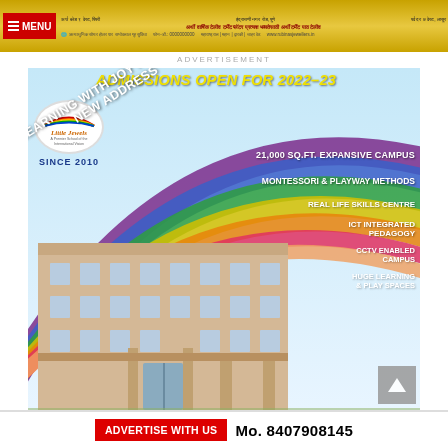[Figure (screenshot): Top navigation banner with golden background, red MENU button, and Marathi text content]
ADVERTISEMENT
[Figure (infographic): Little Jewels school admission advertisement for 2022-23. Features rainbow arcs over a school building illustration. Text: ADMISSIONS OPEN FOR 2022-23, LEARNING WITH JOY HAS A NEW ADDRESS, 21,000 SQ.FT. EXPANSIVE CAMPUS, MONTESSORI & PLAYWAY METHODS, REAL LIFE SKILLS CENTRE, ICT INTEGRATED PEDAGOGY, CCTV ENABLED CAMPUS, HUGE LEARNING & PLAY SPACES. Logo shows Little Jewels SINCE 2010.]
ADVERTISE WITH US   Mo. 8407908145